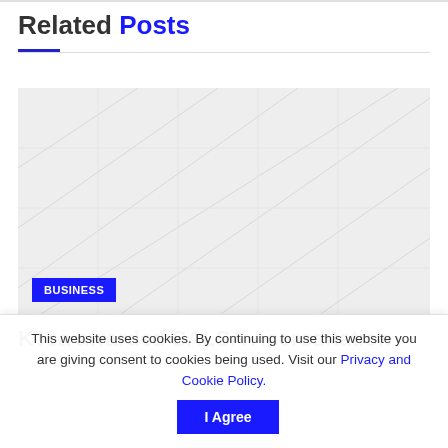Related Posts
[Figure (photo): A faded/washed-out photograph used as a thumbnail for a related post, with a blue 'BUSINESS' badge overlay in the lower left corner.]
KTea awarded SALSA Accreditation
This website uses cookies. By continuing to use this website you are giving consent to cookies being used. Visit our Privacy and Cookie Policy.
I Agree